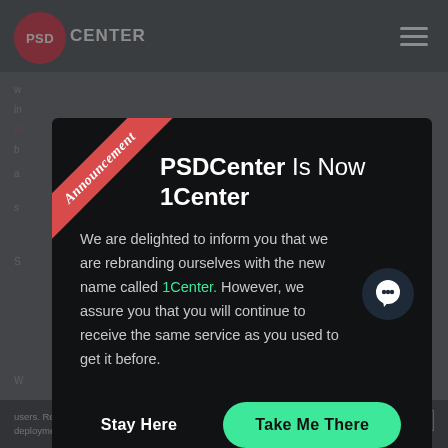PSD CENTER
[Figure (screenshot): PSD Center website screenshot showing a modal announcement dialog. The modal has a red ribbon with 'Announcement' text, title 'PSDCenter Is Now 1Center', body text describing the rebranding, and two buttons: 'Stay Here' and 'Take Me There' (green).]
PSDCenter Is Now 1Center
We are delighted to inform you that we are rebranding ourselves with the new name called 1Center. However, we assure you that you will continue to receive the same service as you used to get it before.
Stay Here
Take Me There
users. Read more from our Cookie Policy deployment to multiple users by administrators.